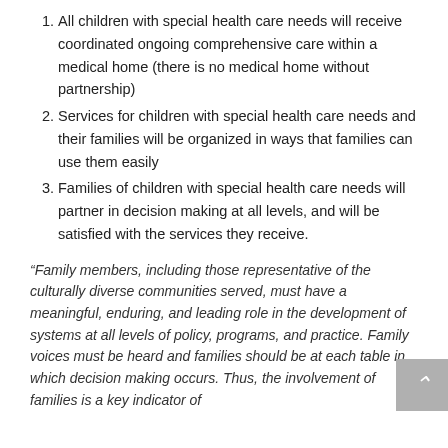All children with special health care needs will receive coordinated ongoing comprehensive care within a medical home (there is no medical home without partnership)
Services for children with special health care needs and their families will be organized in ways that families can use them easily
Families of children with special health care needs will partner in decision making at all levels, and will be satisfied with the services they receive.
“Family members, including those representative of the culturally diverse communities served, must have a meaningful, enduring, and leading role in the development of systems at all levels of policy, programs, and practice. Family voices must be heard and families should be at each table in which decision making occurs. Thus, the involvement of families is a key indicator of